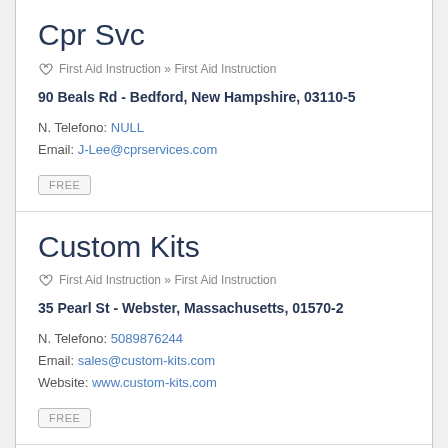Cpr Svc
First Aid Instruction » First Aid Instruction
90 Beals Rd - Bedford, New Hampshire, 03110-5
N. Telefono: NULL
Email: J-Lee@cprservices.com
FREE
Custom Kits
First Aid Instruction » First Aid Instruction
35 Pearl St - Webster, Massachusetts, 01570-2
N. Telefono: 5089876244
Email: sales@custom-kits.com
Website: www.custom-kits.com
FREE
Eagle Medical Svc